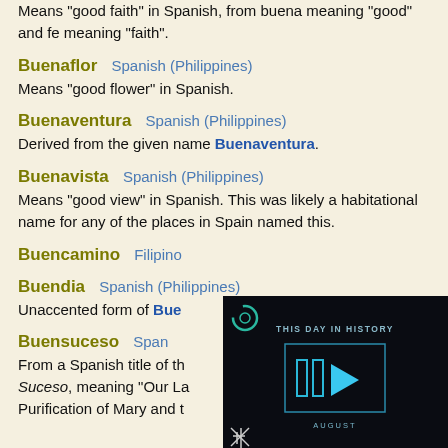Means "good faith" in Spanish, from buena meaning "good" and fe meaning "faith".
Buenaflor   Spanish (Philippines)
Means "good flower" in Spanish.
Buenaventura   Spanish (Philippines)
Derived from the given name Buenaventura.
Buenavista   Spanish (Philippines)
Means "good view" in Spanish. This was likely a habitational name for any of the places in Spain named this.
Buencamino   Filipino
Buendia   Spanish (Philippines)
Unaccented form of Buen...
Buensuceso   Span...
From a Spanish title of th... Suceso, meaning "Our La... Purification of Mary and t...
[Figure (screenshot): A dark overlay video player widget showing 'THIS DAY IN HISTORY' with a play button and skip controls, labeled 'AUGUST' at the bottom.]